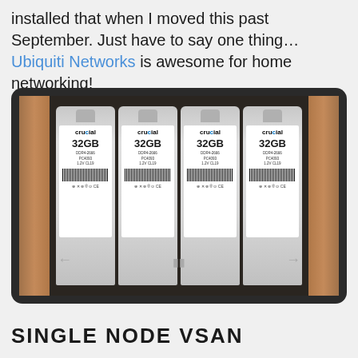installed that when I moved this past September. Just have to say one thing…Ubiquiti Networks is awesome for home networking!
[Figure (photo): Four Crucial 32GB DDR4-2666 RAM sticks in retail blister packaging, arranged side by side on a dark surface with wood-paneled sides visible. Navigation arrows visible at the bottom of the image.]
SINGLE NODE VSAN